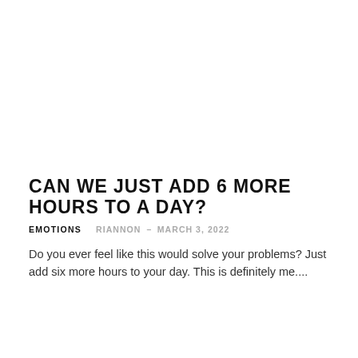CAN WE JUST ADD 6 MORE HOURS TO A DAY?
EMOTIONS   RIANNON – MARCH 3, 2022
Do you ever feel like this would solve your problems? Just add six more hours to your day. This is definitely me....